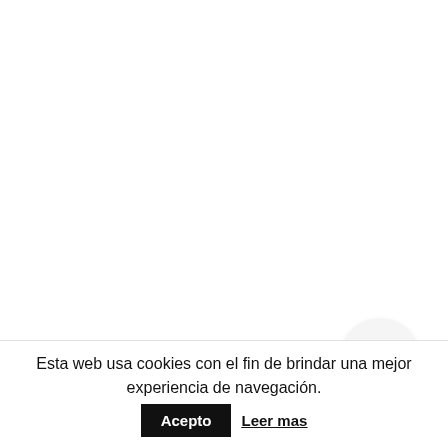[Figure (other): Hamburger menu button — a circular white/light-grey button with three horizontal black bars, positioned in the lower-right area of a mostly white page.]
Esta web usa cookies con el fin de brindar una mejor experiencia de navegación.
Acepto
Leer mas